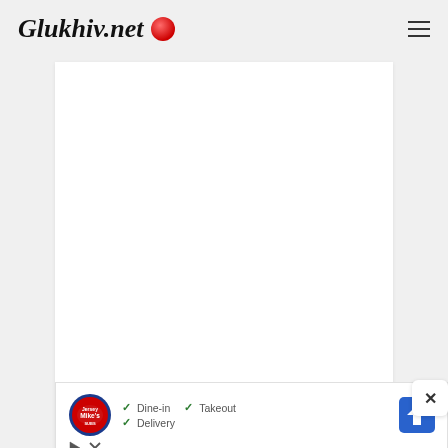Glukhiv.net
[Figure (screenshot): White rectangular main content card area, empty]
[Figure (other): Close (x) button in bottom right corner]
[Figure (other): Advertisement banner: Jersey Mike's Subs logo with checkmarks for Dine-in, Takeout, Delivery and a blue navigation arrow icon]